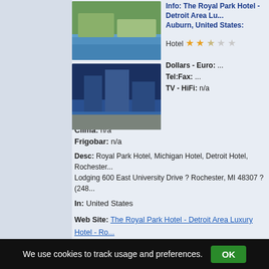[Figure (photo): Two hotel photos: top shows hotel exterior with pool and trees, bottom shows hotel lit up at night near water]
Info: The Royal Park Hotel - Detroit Area Lu... Auburn, United States:
Hotel ★★☆☆☆
Dollars - Euro: ...
Tel:Fax: ...
TV - HiFi: n/a
Clima: n/a
Frigobar: n/a
Desc: Royal Park Hotel, Michigan Hotel, Detroit Hotel, Rochester... Lodging 600 East University Drive ? Rochester, MI 48307 ? (248...
In: United States
Web Site: The Royal Park Hotel - Detroit Area Luxury Hotel - Ro...
Web Link: http://www.royalparkhotel.net/
Auburn AL Hotels & Lodging Near AU - The H...
[Figure (photo): Hotel exterior building photo]
Info: Auburn AL Hotels & Lodging Near AU -...
We use cookies to track usage and preferences.  OK